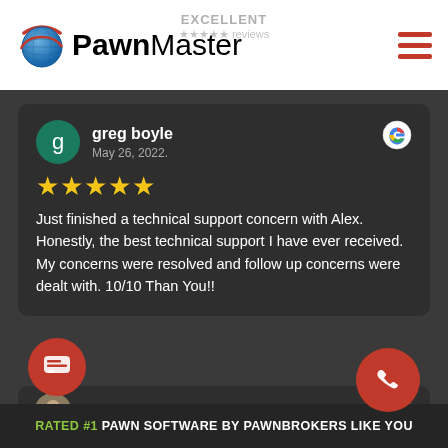[Figure (logo): PawnMaster logo with globe icon and hamburger menu, EXCELLENT rating header]
greg boyle
May 26, 2022.
★★★★★
Just finished a technical support concern with Alex. Honestly, the best technical support I have ever received. My concerns were resolved and follow up concerns were dealt with. 10/10 Than You!!
Claudia...
ALL GOOGLE REVIEWS
RATED #1 PAWN SOFTWARE BY PAWNBROKERS LIKE YOU